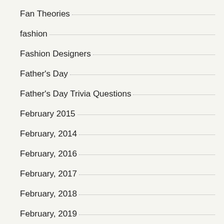Fan Theories
fashion
Fashion Designers
Father's Day
Father's Day Trivia Questions
February 2015
February, 2014
February, 2016
February, 2017
February, 2018
February, 2019